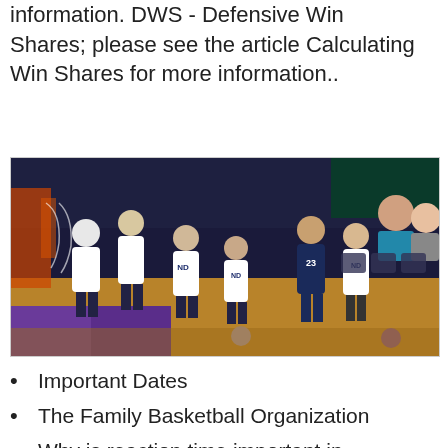information. DWS - Defensive Win Shares; please see the article Calculating Win Shares for more information..
[Figure (photo): Notre Dame women's basketball players celebrating on the court, wearing white 'Sweet 16' t-shirts over uniforms with ND logo. Players are jumping and cheering near the basket. One player wearing navy #23 jersey is visible. Court has purple coloring, spectators and team bench visible in background.]
Important Dates
The Family Basketball Organization
Why is reaction time important in